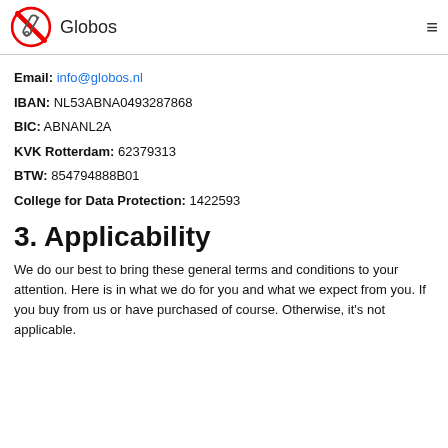Globos
Email: info@globos.nl
IBAN: NL53ABNA0493287868
BIC: ABNANL2A
KVK Rotterdam: 62379313
BTW: 854794888B01
College for Data Protection: 1422593
3. Applicability
We do our best to bring these general terms and conditions to your attention. Here is in what we do for you and what we expect from you. If you buy from us or have purchased of course. Otherwise, it's not applicable.